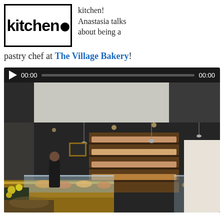[Figure (logo): Kitchen logo in a rectangular black border with bold text 'kitchen' and a filled black circle]
kitchen! Anastasia talks about being a pastry chef at The Village Bakery!
[Figure (screenshot): Video player showing a bakery interior with display cases full of pastries, dark walls, pendant lights, and a person working behind the counter. Video controls show play button, 00:00 timestamp, progress bar, and 00:00 end time.]